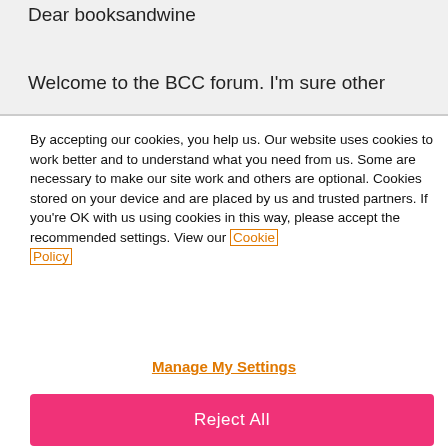Dear booksandwine
Welcome to the BCC forum.  I'm sure other
By accepting our cookies, you help us. Our website uses cookies to work better and to understand what you need from us. Some are necessary to make our site work and others are optional. Cookies stored on your device and are placed by us and trusted partners. If you're OK with us using cookies in this way, please accept the recommended settings. View our Cookie Policy
Manage My Settings
Reject All
Accept All Cookies